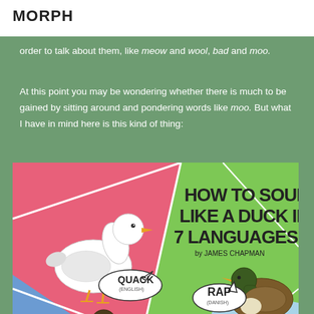MORPH
order to talk about them, like meow and wool, bad and moo.
At this point you may be wondering whether there is much to be gained by sitting around and pondering words like moo. But what I have in mind here is this kind of thing:
[Figure (illustration): Colorful comic-style illustration titled 'HOW TO SOUND LIKE A DUCK IN 7 LANGUAGES by James Chapman' showing ducks with speech bubbles: QUACK (English), RAP (Danish), MAC (Romanian)]